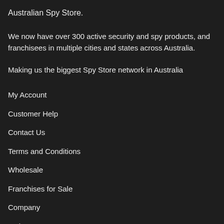Australian Spy Store.
We now have over 300 active security and spy products, and franchisees in multiple cities and states across Australia.
Making us the biggest Spy Store network in Australia
My Account
Customer Help
Contact Us
Terms and Conditions
Wholesale
Franchises for Sale
Company
Orders